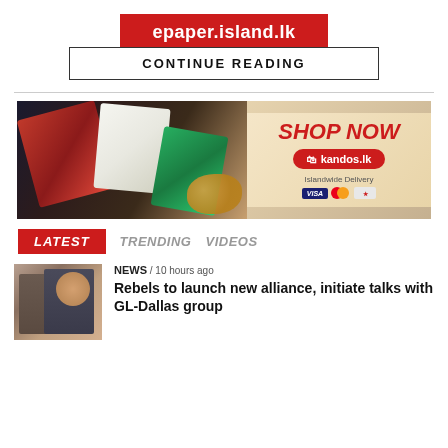epaper.island.lk
CONTINUE READING
[Figure (photo): Kandos chocolate advertisement banner with product boxes and nuts. Text reads: SHOP NOW, kandos.lk, Islandwide Delivery, with VISA, Mastercard, and other payment icons.]
LATEST   TRENDING   VIDEOS
NEWS / 10 hours ago
[Figure (photo): Thumbnail photo of two people in a meeting or discussion setting.]
Rebels to launch new alliance, initiate talks with GL-Dallas group